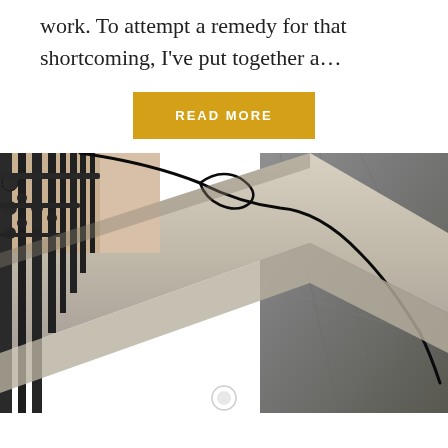work. To attempt a remedy for that shortcoming, I've put together a...
READ MORE
[Figure (photo): Close-up photo of a building ledge or windowsill with a black cable or wire running along the concrete surface. On the left side there is an ornate black iron fence or railing. The right side shows a rough grey stone or concrete wall. A small white circular object (possibly a sensor or plug) is visible near the bottom center.]